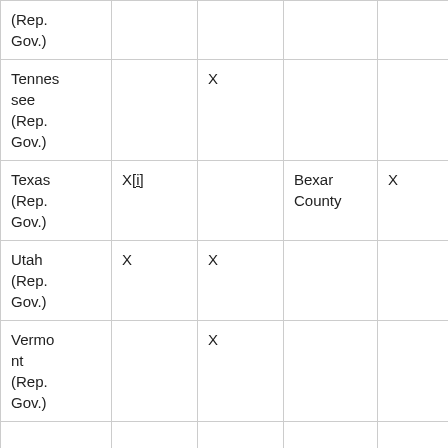| (Rep. Gov.) |  |  |  |  |  |
| Tennessee (Rep. Gov.) |  | X |  |  |  |
| Texas (Rep. Gov.) | X[i] |  | Bexar County | X |  |
| Utah (Rep. Gov.) | X | X |  |  |  |
| Vermont (Rep. Gov.) |  | X |  |  |  |
|  |  |  |  |  |  |